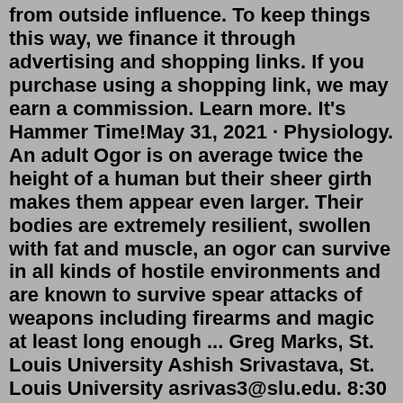from outside influence. To keep things this way, we finance it through advertising and shopping links. If you purchase using a shopping link, we may earn a commission. Learn more. It's Hammer Time!May 31, 2021 · Physiology. An adult Ogor is on average twice the height of a human but their sheer girth makes them appear even larger. Their bodies are extremely resilient, swollen with fat and muscle, an ogor can survive in all kinds of hostile environments and are known to survive spear attacks of weapons including firearms and magic at least long enough ... Greg Marks, St. Louis University Ashish Srivastava, St. Louis University asrivas3@slu.edu. 8:30 a.m. On the Pure-Injectivity Profile of a Ring. Abdullah Harmanci, Hacettepe University Sergio R López-Permouth*, Ohio University Burcu Ungor, Ankara University (1094-16-133) 9:00 a.m.PAGE 1 The Bank at the Head of Lincoln Road Mall Since 1933 MERCANTILE NATIONAL BANK OF MIAMI BEACH 420 LINCOLN ROAD MALL MIAMI BEACH TEL. 538-7821 CORNER WASHINGTON